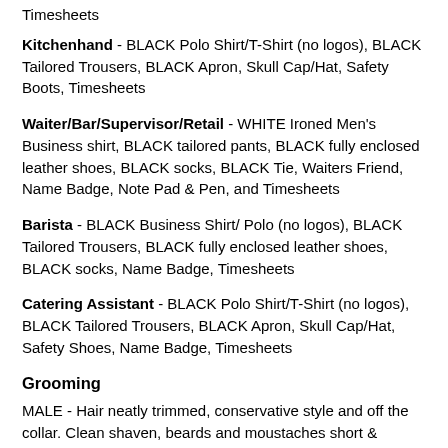Timesheets (fragment at top)
Kitchenhand - BLACK Polo Shirt/T-Shirt (no logos), BLACK Tailored Trousers, BLACK Apron, Skull Cap/Hat, Safety Boots, Timesheets
Waiter/Bar/Supervisor/Retail - WHITE Ironed Men's Business shirt, BLACK tailored pants, BLACK fully enclosed leather shoes, BLACK socks, BLACK Tie, Waiters Friend, Name Badge, Note Pad & Pen, and Timesheets
Barista - BLACK Business Shirt/ Polo (no logos), BLACK Tailored Trousers, BLACK fully enclosed leather shoes, BLACK socks, Name Badge, Timesheets
Catering Assistant - BLACK Polo Shirt/T-Shirt (no logos), BLACK Tailored Trousers, BLACK Apron, Skull Cap/Hat, Safety Shoes, Name Badge, Timesheets
Grooming
MALE - Hair neatly trimmed, conservative style and off the collar. Clean shaven, beards and moustaches short &